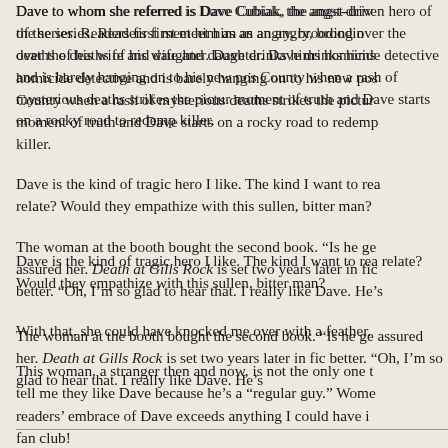Dave to whom she referred is Dave Cubiak, the angst-driven hero of the series. Readers first meet him as an angry, brooding man, torn over the deaths of his wife and daughter. Dave drinks himself out of his homicide detective and is barely hanging on to his new position in Door County when a rash of mysterious deaths strikes the picture-perfect area. A moment of truth and Dave starts on a rocky road to redemption while tracking a killer.
Dave is the kind of tragic hero I like. The kind I want to read about. But would readers relate? Would they empathize with this sullen, bitter man?
The woman at the booth bought the second book. “Is he getting better?” she assured her. Death at Gills Rock is set two years later in fiction and Dave is better. “Oh, I’m so glad to hear that. I really like Dave. He’s
With that, she could have knocked me over with a feather.
This woman, a stranger then and now, is not the only one to tell me they like Dave because he’s a “regular guy.” Women and men readers’ embrace of Dave exceeds anything I could have imagined. Dave has a fan club!
More than anything —the thrill of opening that first box of books, seeing my mystery novels displayed on bookstore shelves, even the handsome covers of my books — my Made It Moment erupted from the realization that readers felt an emotional connection with my troubled protagonist. Knowing that readers care leaves me humbled, grateful and inspired to write on.